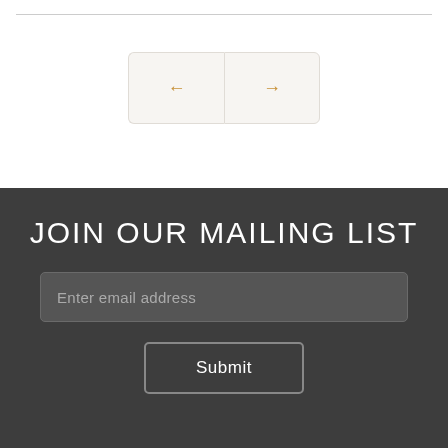[Figure (other): Navigation arrow buttons: left arrow and right arrow in bordered rectangular buttons with light beige background]
JOIN OUR MAILING LIST
Enter email address
Submit